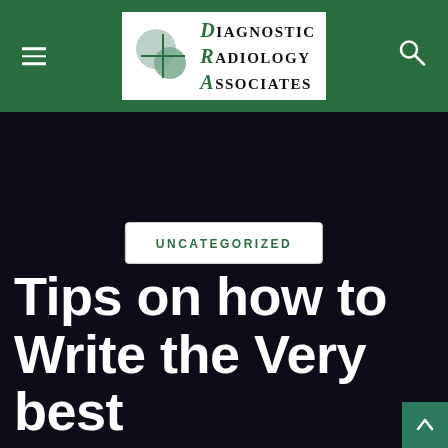Diagnostic Radiology Associates
UNCATEGORIZED
Tips on how to Write the Very best